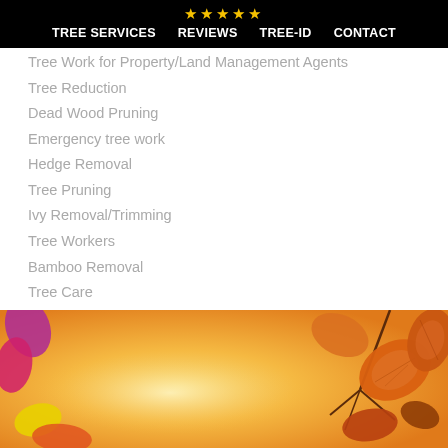★★★★★ TREE SERVICES  REVIEWS  TREE-ID  CONTACT
Tree Work for Property/Land Management Agents
Tree Reduction
Dead Wood Pruning
Emergency tree work
Hedge Removal
Tree Pruning
Ivy Removal/Trimming
Tree Workers
Bamboo Removal
Tree Care
Tree Surgery
[Figure (photo): Autumn leaves in orange, yellow, red and brown tones on a warm blurred orange/yellow background. Several dried leaves hanging from a twig visible on the right side.]